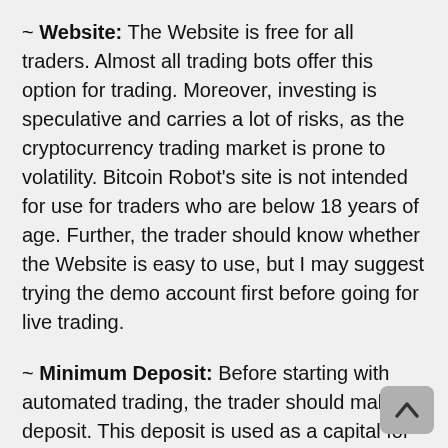~ Website: The Website is free for all traders. Almost all trading bots offer this option for trading. Moreover, investing is speculative and carries a lot of risks, as the cryptocurrency trading market is prone to volatility. Bitcoin Robot's site is not intended for use for traders who are below 18 years of age. Further, the trader should know whether the Website is easy to use, but I may suggest trying the demo account first before going for live trading.
~ Minimum Deposit: Before starting with automated trading, the trader should make a deposit. This deposit is used as a capital for executing the trades. The minimum investment in almost all robots is $250, and this money remains in the trader's account and can be utilized when the trader plans to execute the trades. Several payment options are available for the trader, such as credit card, debit card, wire transfer, Paypal, Skrill, and several